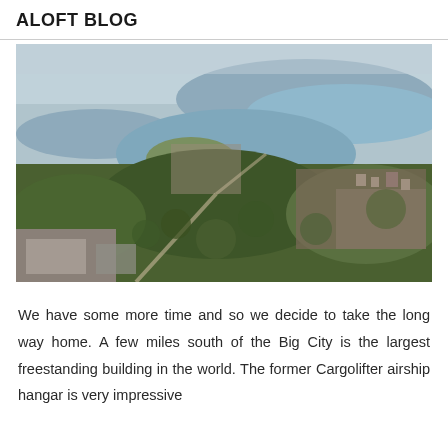ALOFT BLOG
[Figure (photo): Aerial photograph of a city with lakes and urban landscape visible from above, likely taken from an aircraft or airship.]
We have some more time and so we decide to take the long way home. A few miles south of the Big City is the largest freestanding building in the world. The former Cargolifter airship hangar is very impressive